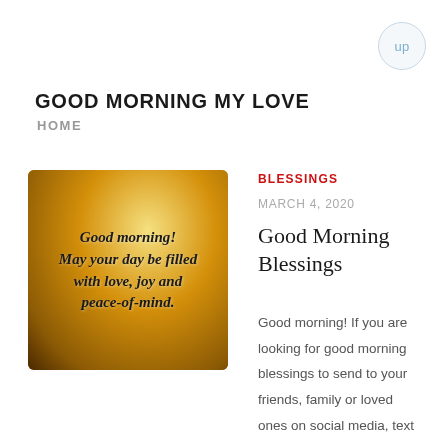GOOD MORNING MY LOVE
HOME
[Figure (illustration): Decorative image with a golden, glowing angelic background and text reading: Good morning! May your day be filled with love, joy and peace-of-mind.]
BLESSINGS
MARCH 4, 2020
Good Morning Blessings
Good morning! If you are looking for good morning blessings to send to your friends, family or loved ones on social media, text